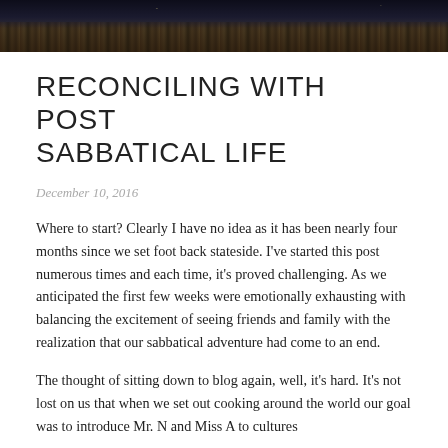[Figure (photo): Dark nighttime cityscape header image showing buildings and city lights]
RECONCILING WITH POST SABBATICAL LIFE
December 10, 2016
Where to start? Clearly I have no idea as it has been nearly four months since we set foot back stateside. I've started this post numerous times and each time, it's proved challenging. As we anticipated the first few weeks were emotionally exhausting with balancing the excitement of seeing friends and family with the realization that our sabbatical adventure had come to an end.
The thought of sitting down to blog again, well, it's hard. It's not lost on us that when we set out cooking around the world our goal was to introduce Mr. N and Miss A to cultures